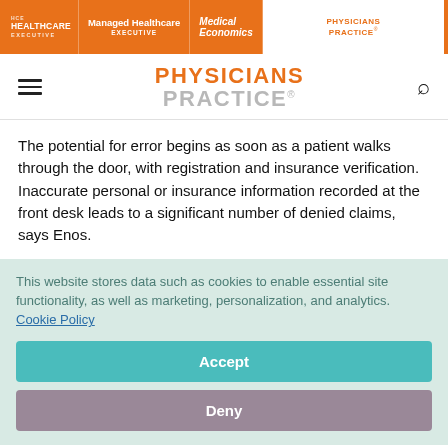HCE Healthcare Executive | Managed Healthcare Executive | Medical Economics | Physicians Practice
PHYSICIANS PRACTICE
The potential for error begins as soon as a patient walks through the door, with registration and insurance verification. Inaccurate personal or insurance information recorded at the front desk leads to a significant number of denied claims, says Enos.
This website stores data such as cookies to enable essential site functionality, as well as marketing, personalization, and analytics. Cookie Policy
Accept
Deny